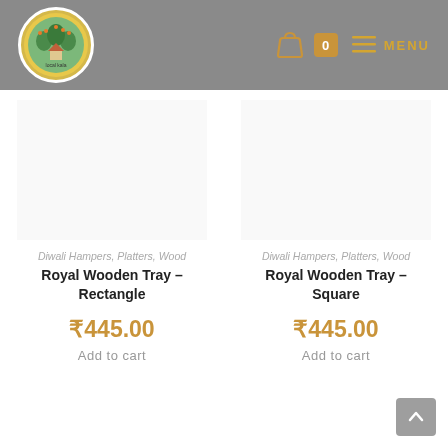local kala — cart 0 — MENU
Diwali Hampers, Platters, Wood
Royal Wooden Tray – Rectangle
₹445.00
Add to cart
Diwali Hampers, Platters, Wood
Royal Wooden Tray – Square
₹445.00
Add to cart